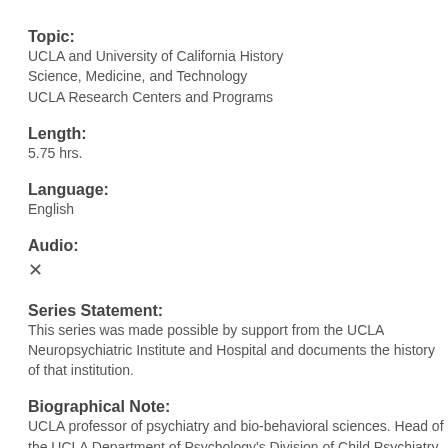Topic:
UCLA and University of California History
Science, Medicine, and Technology
UCLA Research Centers and Programs
Length:
5.75 hrs.
Language:
English
Audio:
✕
Series Statement:
This series was made possible by support from the UCLA Neuropsychiatric Institute and Hospital and documents the history of that institution.
Biographical Note:
UCLA professor of psychiatry and bio-behavioral sciences. Head of the UCLA Department of Psychology's Division of Child Psychiatry, a division of the Neuropsychiatric Institute.